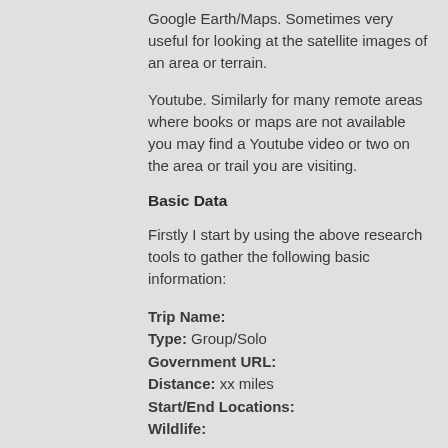Google Earth/Maps. Sometimes very useful for looking at the satellite images of an area or terrain.
Youtube. Similarly for many remote areas where books or maps are not available you may find a Youtube video or two on the area or trail you are visiting.
Basic Data
Firstly I start by using the above research tools to gather the following basic information:
Trip Name:
Type: Group/Solo
Government URL:
Distance: xx miles
Start/End Locations:
Wildlife: